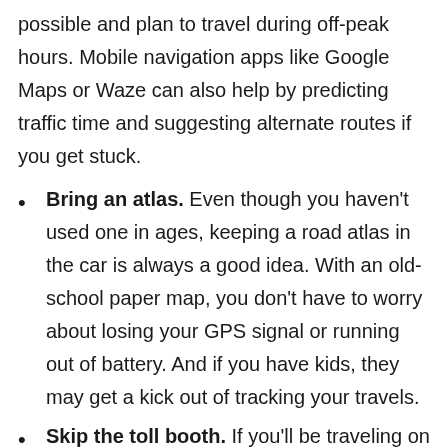possible and plan to travel during off-peak hours. Mobile navigation apps like Google Maps or Waze can also help by predicting traffic time and suggesting alternate routes if you get stuck.
Bring an atlas. Even though you haven't used one in ages, keeping a road atlas in the car is always a good idea. With an old-school paper map, you don't have to worry about losing your GPS signal or running out of battery. And if you have kids, they may get a kick out of tracking your travels.
Skip the toll booth. If you'll be traveling on the turnpike, consider ordering an electronic transponder like E-ZPass. Using an electronic toll system allows you to skip the cash lines and pay lower fares. Already have a toll pass? Make sure your credit card information is up-to-date so you